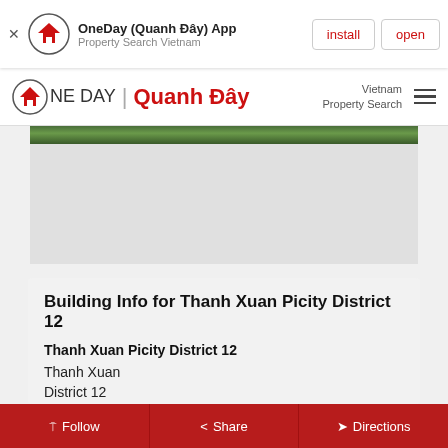OneDay (Quanh Đây) App — Property Search Vietnam — install | open
OneDay | Quanh Đây — Vietnam Property Search
[Figure (photo): Aerial green landscape photo strip at top of content area]
Building Info for Thanh Xuan Picity District 12
Thanh Xuan Picity District 12
Thanh Xuan
District 12
Ho Chi Minh
Vietnam
Follow | Share | Directions